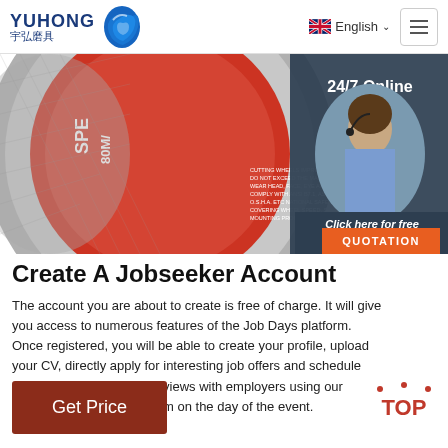YUHONG 宇弘磨具 | English | Menu
[Figure (photo): Product packaging of a cutting wheel showing WARNING label text and barcode, partially overlaid with a customer service chat widget showing a woman with headset.]
Create A Jobseeker Account
The account you are about to create is free of charge. It will give you access to numerous features of the Job Days platform. Once registered, you will be able to create your profile, upload your CV, directly apply for interesting job offers and schedule online or face-to-face interviews with employers using our interview scheduling system on the day of the event.
Get Price